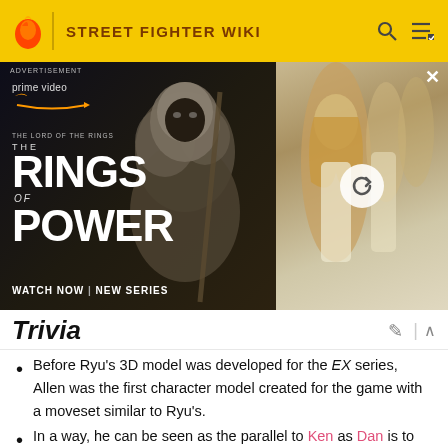STREET FIGHTER WIKI
[Figure (screenshot): Amazon Prime Video advertisement for 'The Lord of the Rings: The Rings of Power' — shows hooded figure on left panel, blonde woman on right panel with refresh icon, and close button. Text reads: ADVERTISEMENT, prime video, THE LORD OF THE RINGS, THE RINGS OF POWER, WATCH NOW | NEW SERIES]
Trivia
Before Ryu's 3D model was developed for the EX series, Allen was the first character model created for the game with a moveset similar to Ryu's.
In a way, he can be seen as the parallel to Ken as Dan is to Ryu; both use techniques copying the Hadoken and Shoryuken, wear an undershirt inside their gis, sport unorthodox gi colors (purple for Allen, pink for